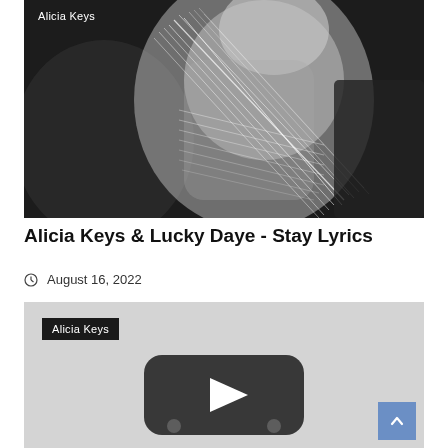[Figure (photo): Black and white blurred motion photo showing a person playing a stringed instrument, with 'Alicia Keys' text overlay in top-left corner]
Alicia Keys & Lucky Daye - Stay Lyrics
August 16, 2022
[Figure (screenshot): Video thumbnail with gray background, 'Alicia Keys' dark label, and a YouTube play button in the center]